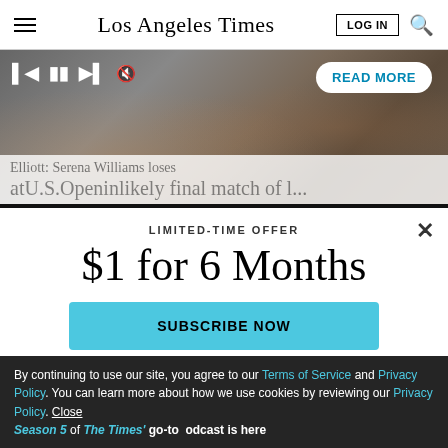Los Angeles Times
[Figure (screenshot): Video player showing crowd at sports event with playback controls (skip back, pause, skip forward, mute) and READ MORE button overlay. Subtitle text: Elliott: Serena Williams loses atU.S.Openinlikely final match of l...]
LIMITED-TIME OFFER
$1 for 6 Months
SUBSCRIBE NOW
By continuing to use our site, you agree to our Terms of Service and Privacy Policy. You can learn more about how we use cookies by reviewing our Privacy Policy. Close
Season 5 of The Times' go-to odcast is here